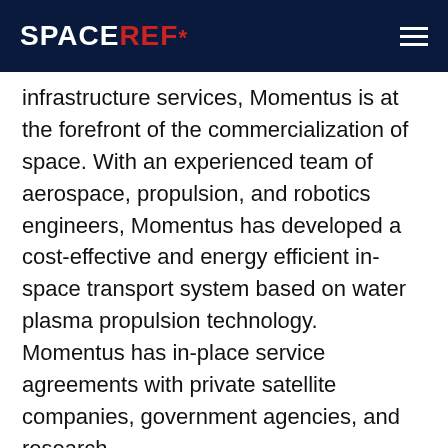SPACEREF*
infrastructure services, Momentus is at the forefront of the commercialization of space. With an experienced team of aerospace, propulsion, and robotics engineers, Momentus has developed a cost-effective and energy efficient in-space transport system based on water plasma propulsion technology. Momentus has in-place service agreements with private satellite companies, government agencies, and research